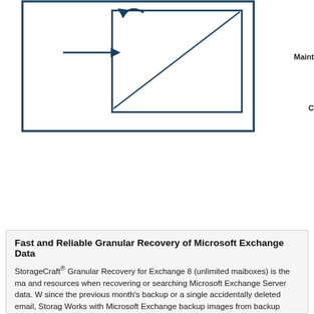[Figure (schematic): Diagram showing a box with an arrow and inner rectangle, representing data recovery flow. A large outer rectangle with a nested inner rectangle, and an arrow pointing into the inner rectangle.]
Maint
C
Fast and Reliable Granular Recovery of Microsoft Exchange Data
StorageCraft® Granular Recovery for Exchange 8 (unlimited maiboxes) is the ma and resources when recovering or searching Microsoft Exchange Server data. W since the previous month's backup or a single accidentally deleted email, Storag Works with Microsoft Exchange backup images from backup software providers
StorageCraft Granular Recovery for Exchange recovers the following data direct file through an easy-to-use tool:
individual mailboxes
Folders
Messages
Attachments
Calendar items
Address book contacts
Notes
Tasks